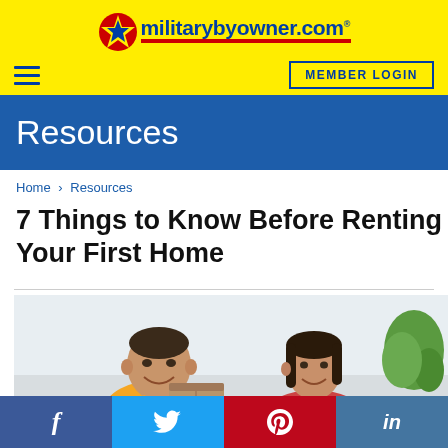militarybyowner.com
MEMBER LOGIN
Resources
Home > Resources
7 Things to Know Before Renting Your First Home
[Figure (photo): A smiling man and woman looking at each other, appearing to be moving into a new home]
f  Twitter  p  in — social sharing buttons for Facebook, Twitter, Pinterest, LinkedIn